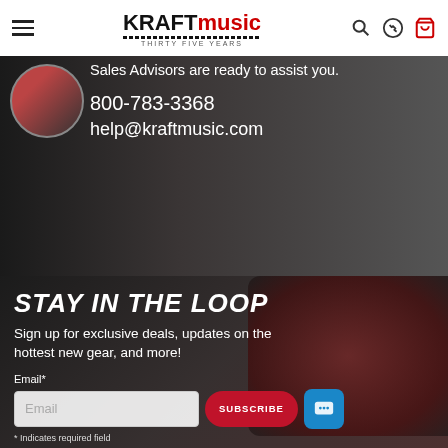[Figure (logo): Kraft Music logo with 'THIRTY FIVE YEARS' tagline and piano keys motif]
Sales Advisors are ready to assist you.
800-783-3368
help@kraftmusic.com
STAY IN THE LOOP
Sign up for exclusive deals, updates on the hottest new gear, and more!
Email*
* Indicates required field